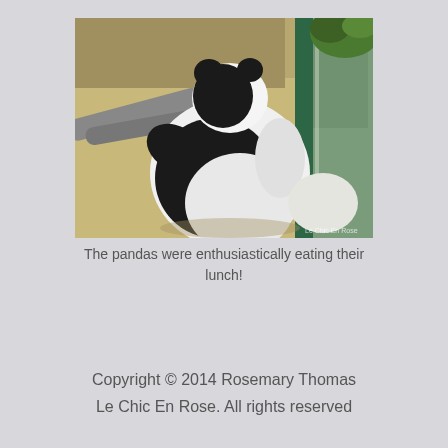[Figure (photo): A giant panda sitting with its back to the camera, leaning against a log inside an enclosure with a green-framed glass wall. The panda's black and white markings are visible. The floor appears sandy/beige. A small watermark reading 'Le Chic En Rose' is visible in the bottom right corner of the photo.]
The pandas were enthusiastically eating their lunch!
Copyright © 2014 Rosemary Thomas Le Chic En Rose. All rights reserved